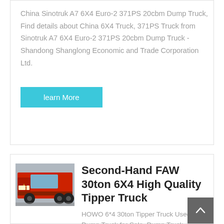China Sinotruk A7 6X4 Euro-2 371PS 20cbm Dump Truck, Find details about China 6X4 Truck, 371PS Truck from Sinotruk A7 6X4 Euro-2 371PS 20cbm Dump Truck - Shandong Shanglong Economic and Trade Corporation Ltd.
learn More
[Figure (photo): Front view of a red heavy-duty dump truck (HOWO brand)]
Second-Hand FAW 30ton 6X4 High Quality Tipper Truck
HOWO 6*4 30ton Tipper Truck Used Dump Truck for Sale, Dump Truck